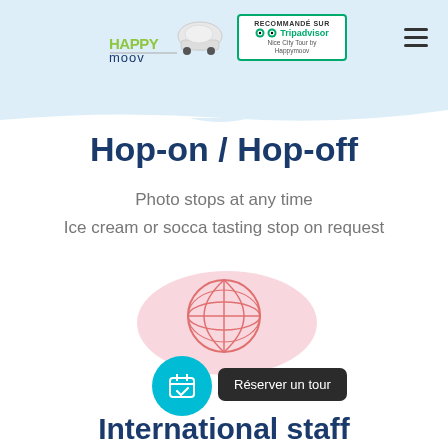[Figure (logo): HappyMoov logo with car icon and Tripadvisor recommended badge]
Hop-on / Hop-off
Photo stops at any time
Ice cream or socca tasting stop on request
[Figure (illustration): Pink blob background with globe/world icon in coral/red outline style]
[Figure (other): Cyan circular button with calendar checkmark icon]
Réserver un tour
International staff